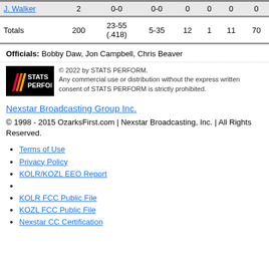| Player | Min | FG | 3PT | REB | AST | STL | PTS |
| --- | --- | --- | --- | --- | --- | --- | --- |
| J. Walker | 2 | 0-0 | 0-0 | 0 | 0 | 0 | 0 |
| Totals | 200 | 23-55 (.418) | 5-35 | 12 | 1 | 11 | 70 |
Officials: Bobby Daw, Jon Campbell, Chris Beaver
[Figure (logo): STATS PERFORM logo with copyright notice: © 2022 by STATS PERFORM. Any commercial use or distribution without the express written consent of STATS PERFORM is strictly prohibited.]
Nexstar Broadcasting Group Inc.
© 1998 - 2015 OzarksFirst.com | Nexstar Broadcasting, Inc. | All Rights Reserved.
Terms of Use
Privacy Policy
KOLR/KOZL EEO Report
KOLR FCC Public File
KOZL FCC Public File
Nexstar CC Certification